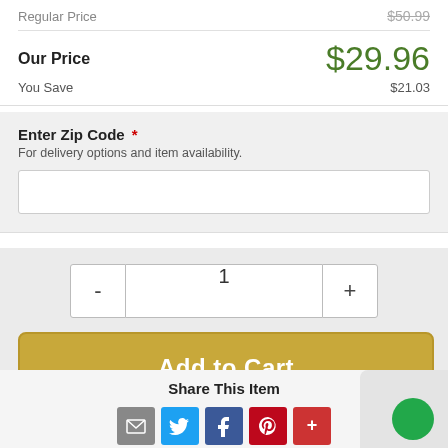Regular Price  $50.99
Our Price  $29.96
You Save  $21.03
Enter Zip Code * For delivery options and item availability.
1
Add to Cart
Share This Item